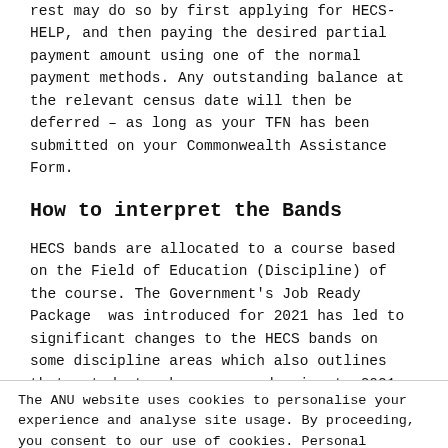rest may do so by first applying for HECS-HELP, and then paying the desired partial payment amount using one of the normal payment methods. Any outstanding balance at the relevant census date will then be deferred – as long as your TFN has been submitted on your Commonwealth Assistance Form.
How to interpret the Bands
HECS bands are allocated to a course based on the Field of Education (Discipline) of the course. The Government's Job Ready Package was introduced for 2021 has led to significant changes to the HECS bands on some discipline areas which also outlines that, students who commenced prior to 2021 are to be charged at the Grandfathered fee rates. There are a few
The ANU website uses cookies to personalise your experience and analyse site usage. By proceeding, you consent to our use of cookies. Personal